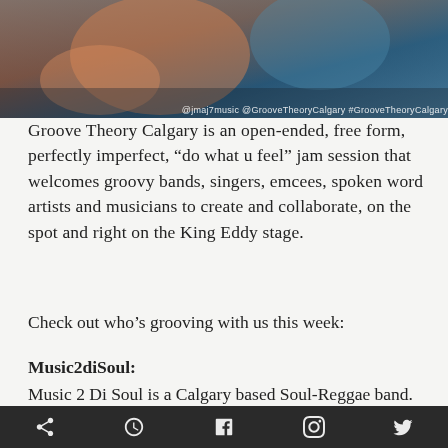[Figure (photo): Concert/music event photo showing musicians on stage with warm orange and blue tones. Watermark text: @jmaj7music @GrooveTheoryCalgary #GrooveTheoryCalgary]
Groove Theory Calgary is an open-ended, free form, perfectly imperfect, “do what u feel” jam session that welcomes groovy bands, singers, emcees, spoken word artists and musicians to create and collaborate, on the spot and right on the King Eddy stage.
Check out who’s grooving with us this week:
Music2diSoul:
Music 2 Di Soul is a Calgary based Soul-Reggae band. The 5 piece group, each member representing the various islands in the Caribbean, offers their listeners a true Island vibe, here at home.
[social media icons: share, clock/schedule, facebook, instagram, twitter]